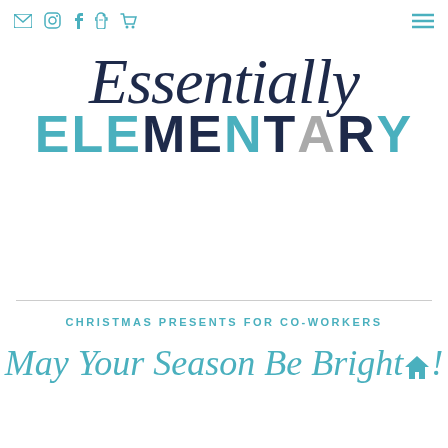Navigation icons: mail, instagram, facebook, pinterest, cart, hamburger menu
[Figure (logo): Essentially Elementary logo — 'Essentially' in dark navy italic script font above 'ELEMENTARY' in large bold letters with mixed colors: teal 'ELE', dark navy 'ME', teal 'N', dark navy 'T', gray 'A', dark navy 'R', teal 'Y']
CHRISTMAS PRESENTS FOR CO-WORKERS
May Your Season Be Bright!